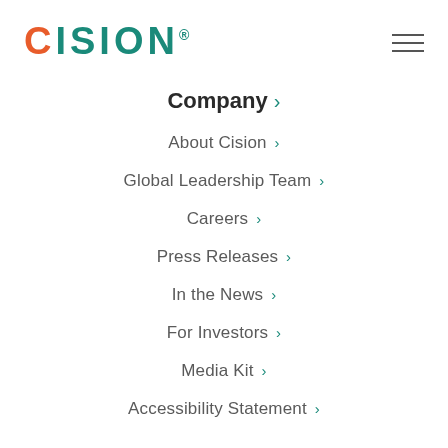[Figure (logo): Cision logo with orange C and teal ISION letters]
Company >
About Cision >
Global Leadership Team >
Careers >
Press Releases >
In the News >
For Investors >
Media Kit >
Accessibility Statement >